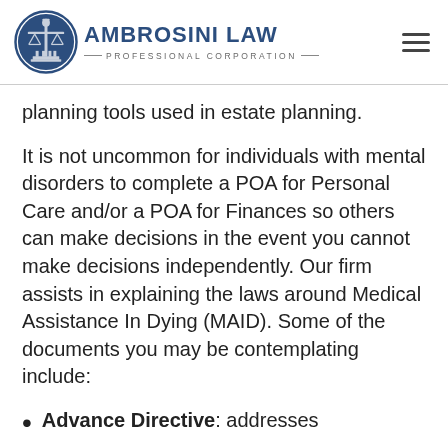AMBROSINI LAW PROFESSIONAL CORPORATION
planning tools used in estate planning.
It is not uncommon for individuals with mental disorders to complete a POA for Personal Care and/or a POA for Finances so others can make decisions in the event you cannot make decisions independently. Our firm assists in explaining the laws around Medical Assistance In Dying (MAID). Some of the documents you may be contemplating include:
Advance Directive: addresses